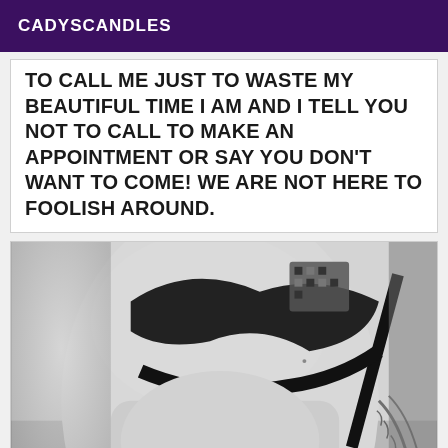CADYSCANDLES
TO CALL ME JUST TO WASTE MY BEAUTIFUL TIME I AM AND I TELL YOU NOT TO CALL TO MAKE AN APPOINTMENT OR SAY YOU DON'T WANT TO COME! WE ARE NOT HERE TO FOOLISH AROUND.
[Figure (photo): Black and white photograph of a person in black lingerie with tattoos visible on shoulder and arm]